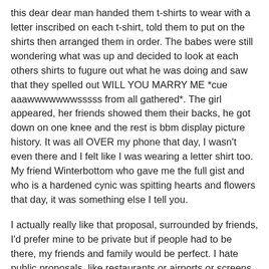this dear dear man handed them t-shirts to wear with a letter inscribed on each t-shirt, told them to put on the shirts then arranged them in order. The babes were still wondering what was up and decided to look at each others shirts to fugure out what he was doing and saw that they spelled out WILL YOU MARRY ME *cue aaawwwwwwwsssss from all gathered*. The girl appeared, her friends showed them their backs, he got down on one knee and the rest is bbm display picture history. It was all OVER my phone that day, I wasn't even there and I felt like I was wearing a letter shirt too. My friend Winterbottom who gave me the full gist and who is a hardened cynic was spitting hearts and flowers that day, it was something else I tell you.
I actually really like that proposal, surrounded by friends, I'd prefer mine to be private but if people had to be there, my friends and family would be perfect. I hate public proposals, like restaurants or airports or screens at sports games, I'm TERRIBLY shy and I would be so crippled with shyness I might even say no. Or cliche'd proposals like The Eiffel Tower or The Empire State Building, that one sef I'll just vex, how dare you take me where many have gone before me.